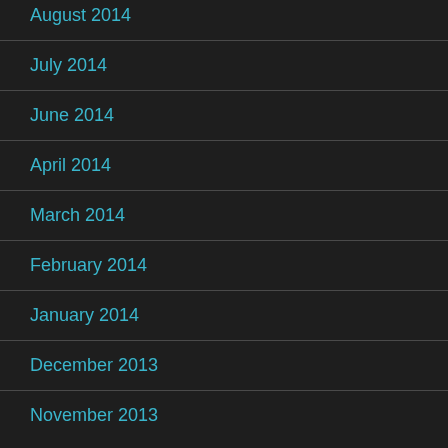August 2014
July 2014
June 2014
April 2014
March 2014
February 2014
January 2014
December 2013
November 2013